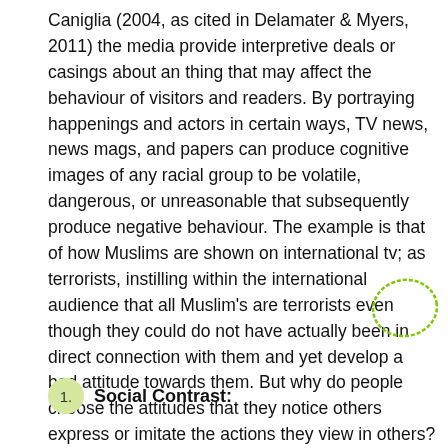Caniglia (2004, as cited in Delamater & Myers, 2011) the media provide interpretive deals or casings about an thing that may affect the behaviour of visitors and readers. By portraying happenings and actors in certain ways, TV news, news mags, and papers can produce cognitive images of any racial group to be volatile, dangerous, or unreasonable that subsequently produce negative behaviour. The example is that of how Muslims are shown on international tv; as terrorists, instilling within the international audience that all Muslim's are terrorists even though they could do not have actually been in direct connection with them and yet develop a bad attitude towards them. But why do people choose the attitudes that they notice others express or imitate the actions they view in others?
1. Social Contrast: